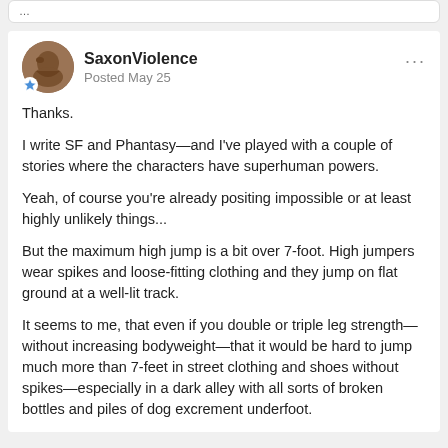…
SaxonViolence
Posted May 25
Thanks.

I write SF and Phantasy—and I've played with a couple of stories where the characters have superhuman powers.

Yeah, of course you're already positing impossible or at least highly unlikely things...

But the maximum high jump is a bit over 7-foot. High jumpers wear spikes and loose-fitting clothing and they jump on flat ground at a well-lit track.

It seems to me, that even if you double or triple leg strength—without increasing bodyweight—that it would be hard to jump much more than 7-feet in street clothing and shoes without spikes—especially in a dark alley with all sorts of broken bottles and piles of dog excrement underfoot.